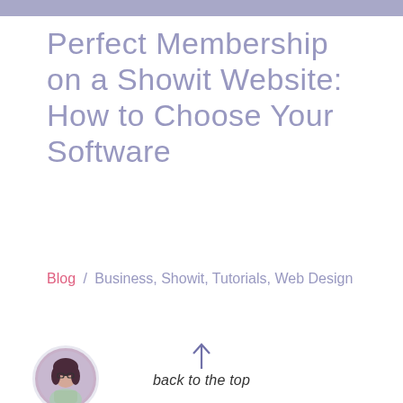Perfect Membership on a Showit Website: How to Choose Your Software
Blog / Business, Showit, Tutorials, Web Design
[Figure (photo): Circular avatar photo of a woman with glasses and dark hair, sitting at a desk]
back to the top